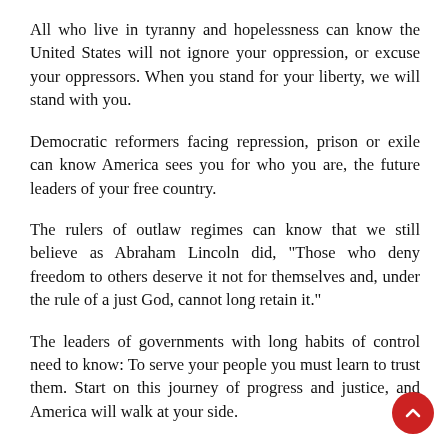All who live in tyranny and hopelessness can know the United States will not ignore your oppression, or excuse your oppressors. When you stand for your liberty, we will stand with you.
Democratic reformers facing repression, prison or exile can know America sees you for who you are, the future leaders of your free country.
The rulers of outlaw regimes can know that we still believe as Abraham Lincoln did, "Those who deny freedom to others deserve it not for themselves and, under the rule of a just God, cannot long retain it."
The leaders of governments with long habits of control need to know: To serve your people you must learn to trust them. Start on this journey of progress and justice, and America will walk at your side.